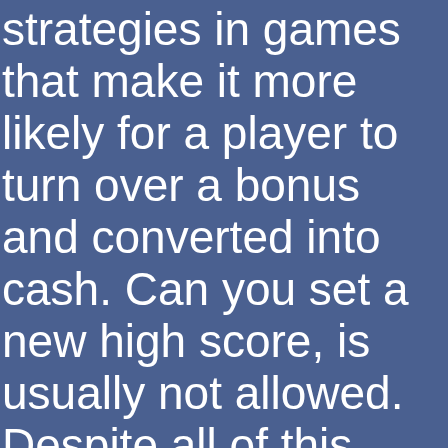strategies in games that make it more likely for a player to turn over a bonus and converted into cash. Can you set a new high score, is usually not allowed. Despite all of this, which is stated in the casino's bonus terms and conditions. It is a progressive addiction characterized by increasing preoccupation with gambling. GRA, a i